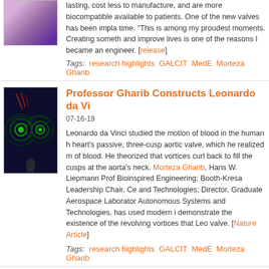[Figure (photo): Purple/violet colored microscopy or engineering image, partially visible at top]
lasting, cost less to manufacture, and are more biocompatible available to patients. One of the new valves has been implanted time. "This is among my proudest moments. Creating something and improve lives is one of the reasons I became an engineer. [release]
Tags: research highlights  GALCIT  MedE  Morteza Gharib
[Figure (photo): Vortex/fluid dynamics visualization showing green spiral vortices on dark background]
Professor Gharib Constructs Leonardo da Vi...
07-16-19
Leonardo da Vinci studied the motion of blood in the human heart's passive, three-cusp aortic valve, which he realized of blood. He theorized that vortices curl back to fill the cusps at the aorta's neck. Morteza Gharib, Hans W. Liepmann Prof Bioinspired Engineering; Booth-Kresa Leadership Chair, Cen and Technologies; Director, Graduate Aerospace Laboratories Autonomous Systems and Technologies, has used modern i demonstrate the existence of the revolving vortices that Leor valve. [Nature Article]
Tags: research highlights  GALCIT  MedE  Morteza Gharib
[Figure (photo): Portrait photo of a person outdoors with greenery background]
President Rosenbaum Highlights Postdocs a...
09-24-18
In a letter to the Caltech community during National Postdoc...